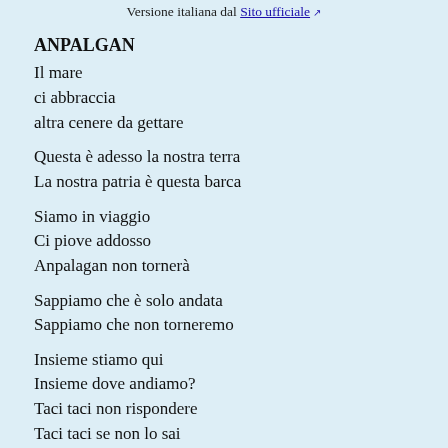Versione italiana dal Sito ufficiale
ANPALGAN
Il mare
ci abbraccia
altra cenere da gettare
Questa è adesso la nostra terra
La nostra patria è questa barca
Siamo in viaggio
Ci piove addosso
Anpalagan non tornerà
Sappiamo che è solo andata
Sappiamo che non torneremo
Insieme stiamo qui
Insieme dove andiamo?
Taci taci non rispondere
Taci taci se non lo sai